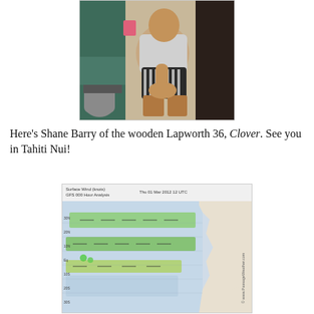[Figure (photo): Photo of Shane Barry sitting on a boat deck, wearing a grey t-shirt and striped shorts, taken in a marina or boat setting.]
Here's Shane Barry of the wooden Lapworth 36, Clover. See you in Tahiti Nui!
[Figure (map): Surface wind map (knots) - GFS 000 Hour Analysis, Thu 01 Mar 2012 12 UTC, showing Pacific Ocean wind patterns with green and blue color coding from PassageWeather.com]